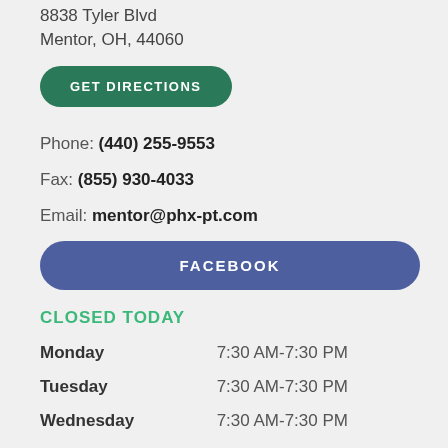8838 Tyler Blvd
Mentor, OH, 44060
GET DIRECTIONS
Phone: (440) 255-9553
Fax: (855) 930-4033
Email: mentor@phx-pt.com
FACEBOOK
CLOSED TODAY
| Day | Hours |
| --- | --- |
| Monday | 7:30 AM-7:30 PM |
| Tuesday | 7:30 AM-7:30 PM |
| Wednesday | 7:30 AM-7:30 PM |
| Thursday | 7:30 AM-7:30 PM |
| Friday | 7:30 AM-1:00 AM |